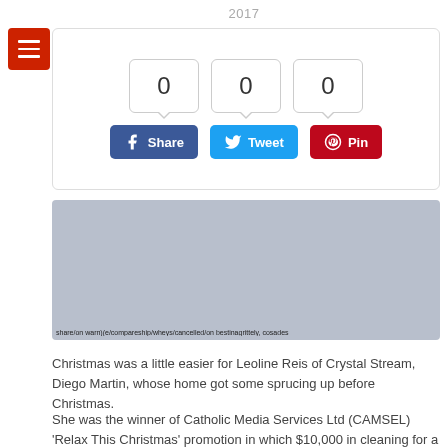2017
[Figure (screenshot): Social share widget with three counters all showing 0, and three buttons: Facebook Share, Tweet, and Pinterest Pin]
[Figure (photo): Gray placeholder image with a long URL/caption text at the bottom]
Christmas was a little easier for Leoline Reis of Crystal Stream, Diego Martin, whose home got some sprucing up before Christmas.
She was the winner of Catholic Media Services Ltd (CAMSEL) 'Relax This Christmas' promotion in which $10,000 in cleaning for a prize and $2,500 on the following of the promoter of and